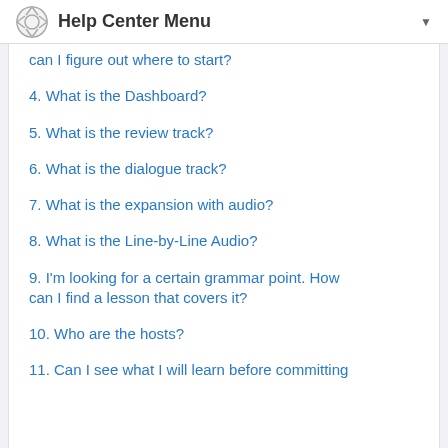Help Center Menu
can I figure out where to start?
4. What is the Dashboard?
5. What is the review track?
6. What is the dialogue track?
7. What is the expansion with audio?
8. What is the Line-by-Line Audio?
9. I'm looking for a certain grammar point. How can I find a lesson that covers it?
10. Who are the hosts?
11. Can I see what I will learn before committing